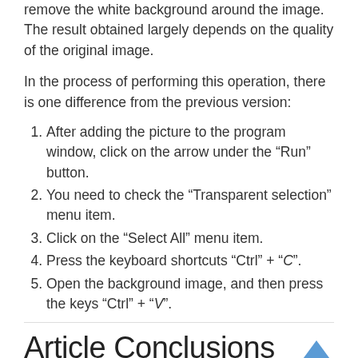remove the white background around the image. The result obtained largely depends on the quality of the original image.
In the process of performing this operation, there is one difference from the previous version:
After adding the picture to the program window, click on the arrow under the “Run” button.
You need to check the “Transparent selection” menu item.
Click on the “Select All” menu item.
Press the keyboard shortcuts “Ctrl” + “C”.
Open the background image, and then press the keys “Ctrl” + “V”.
Article Conclusions
Users have images, photographs, clip art, or